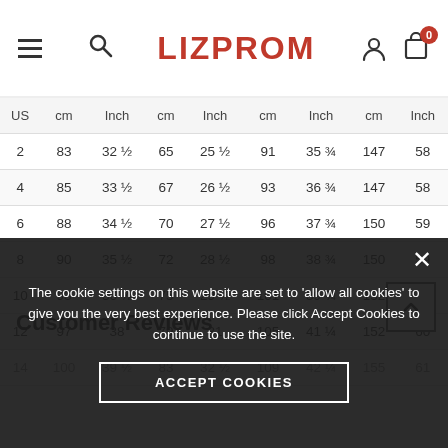LIZPROM
| US | cm | Inch | cm | Inch | cm | Inch | cm | Inch |
| --- | --- | --- | --- | --- | --- | --- | --- | --- |
| 2 | 83 | 32 ½ | 65 | 25 ½ | 91 | 35 ¾ | 147 | 58 |
| 4 | 85 | 33 ½ | 67 | 26 ½ | 93 | 36 ¾ | 147 | 58 |
| 6 | 88 | 34 ½ | 70 | 27 ½ | 96 | 37 ¾ | 150 | 59 |
| 8 | 90 | 35 ½ | 72 | 28 ½ | 98 | 38 ¾ | 150 | 59 |
| 10 | 93 | 36 ½ | 75 | 29 ½ | 101 | 39 ¾ | 152 | 60 |
| 12 | 97 | 38 | 79 | 31 | 105 | 41 ¼ | 152 | 60 |
| 14 | 100 | 39 ½ | 83 | 32 ½ | 109 | 42 ¼ | 155 | 61 |
Customer Reviews
The cookie settings on this website are set to 'allow all cookies' to give you the very best experience. Please click Accept Cookies to continue to use the site.